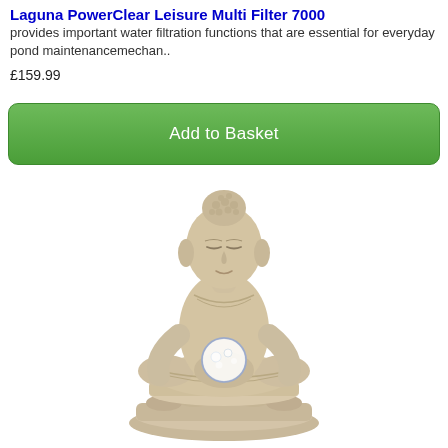Laguna PowerClear Leisure Multi Filter 7000
provides important water filtration functions that are essential for everyday pond maintenancemechan..
£159.99
Add to Basket
[Figure (photo): A stone-coloured seated Buddha statue in meditation pose, holding a glowing crystal/water ball in its lap, on a lotus base.]